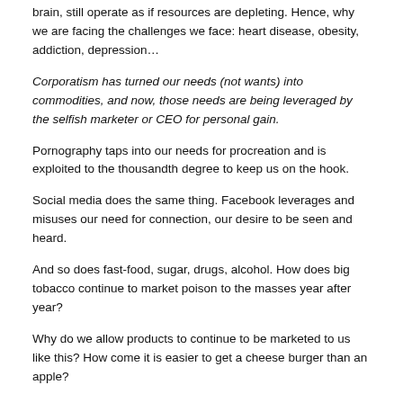brain, still operate as if resources are depleting. Hence, why we are facing the challenges we face: heart disease, obesity, addiction, depression…
Corporatism has turned our needs (not wants) into commodities, and now, those needs are being leveraged by the selfish marketer or CEO for personal gain.
Pornography taps into our needs for procreation and is exploited to the thousandth degree to keep us on the hook.
Social media does the same thing. Facebook leverages and misuses our need for connection, our desire to be seen and heard.
And so does fast-food, sugar, drugs, alcohol. How does big tobacco continue to market poison to the masses year after year?
Why do we allow products to continue to be marketed to us like this? How come it is easier to get a cheese burger than an apple?
The answer is, we still believe that this abundance won't last forever. Deep down, our brains don't understand the door that the industrial economy has opened.
Difficult problem to solve. Different challenge than we ever faced in history.
[Figure (infographic): Row of five social sharing icon buttons: email (grey), print (grey), Facebook (blue), Twitter (blue), LinkedIn (blue)]